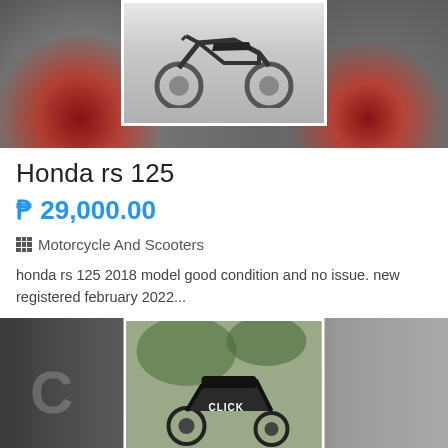[Figure (photo): Motorcycle listing photo showing a red and black Honda RS 125 motorcycle with blurred background and a center inset photograph of the same bike]
Honda rs 125
₱ 29,000.00
Motorcycle And Scooters
honda rs 125 2018 model good condition and no issue. new registered february 2022...
City Of Mandaluyong
4 weeks ago
[Figure (photo): Second motorcycle listing photo showing a Honda Click scooter, blurred on sides with a center inset photograph showing the bike near greenery]